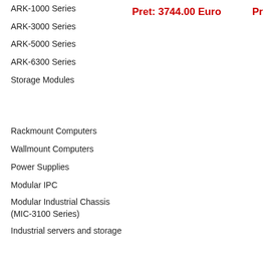ARK-1000 Series
ARK-3000 Series
ARK-5000 Series
ARK-6300 Series
Storage Modules
Pret: 3744.00 Euro
Rackmount Computers
Wallmount Computers
Power Supplies
Modular IPC
Modular Industrial Chassis (MIC-3100 Series)
Industrial servers and storage
Industrial Displays
Touch Panel Computers (TPC)s
WOP-2000 Series
WOP-3000 Series
All-in-One Panel PCs
Industrial Data Gateway